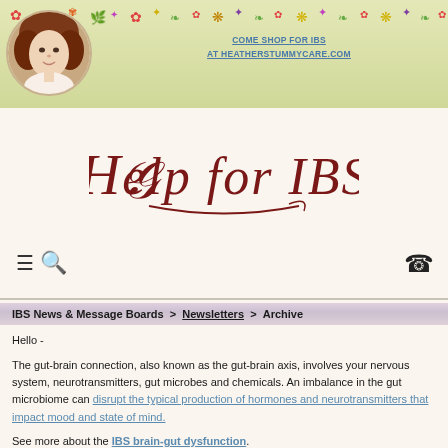COME SHOP FOR IBS AT HEATHERSTUMMYCARE.COM
[Figure (photo): Circular portrait photo of a woman with curly dark hair]
Help for IBS
IBS News & Message Boards > Newsletters > Archive
Hello -
The gut-brain connection, also known as the gut-brain axis, involves your nervous system, neurotransmitters, gut microbes and chemicals. An imbalance in the gut microbiome can disrupt the typical production of hormones and neurotransmitters that impact mood and state of mind.
See more about the IBS brain-gut dysfunction.
You are not alone!
P.S. If you have any questions or comments I'd love to hear them - just reply to